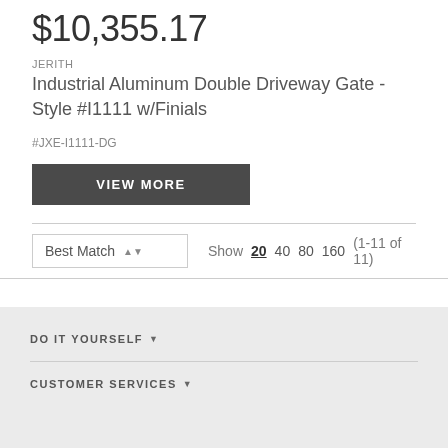$10,355.17
JERITH
Industrial Aluminum Double Driveway Gate - Style #I1111 w/Finials
#JXE-I1111-DG
VIEW MORE
Show 20 40 80 160 (1-11 of 11)
DO IT YOURSELF
CUSTOMER SERVICES